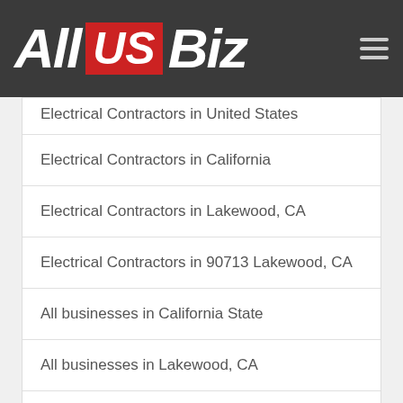All US Biz
Electrical Contractors in United States
Electrical Contractors in California
Electrical Contractors in Lakewood, CA
Electrical Contractors in 90713 Lakewood, CA
All businesses in California State
All businesses in Lakewood, CA
All businesses in 90713 Lakewood, CA